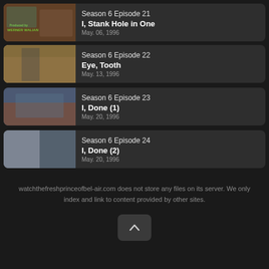Season 6 Episode 21 | I, Stank Hole in One | May. 06, 1996
Season 6 Episode 22 | Eye, Tooth | May. 13, 1996
Season 6 Episode 23 | I, Done (1) | May. 20, 1996
Season 6 Episode 24 | I, Done (2) | May. 20, 1996
watchthefreshprinceofbel-air.com does not store any files on its server. We only index and link to content provided by other sites.